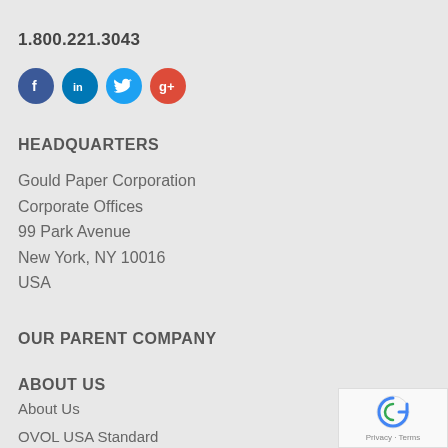1.800.221.3043
[Figure (infographic): Four social media icons: Facebook (blue), LinkedIn (blue), Twitter (light blue), Google+ (red)]
HEADQUARTERS
Gould Paper Corporation
Corporate Offices
99 Park Avenue
New York, NY 10016
USA
OUR PARENT COMPANY
ABOUT US
About Us
OVOL USA Standard
Our Locations
[Figure (other): reCAPTCHA badge with Privacy and Terms text]